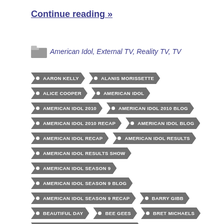Continue reading »
American Idol, External TV, Reality TV, TV
AARON KELLY
ALANIS MORISSETTE
ALICE COOPER
AMERICAN IDOL
AMERICAN IDOL 2010
AMERICAN IDOL 2010 BLOG
AMERICAN IDOL 2010 RECAP
AMERICAN IDOL BLOG
AMERICAN IDOL RECAP
AMERICAN IDOL RESULTS
AMERICAN IDOL RESULTS SHOW
AMERICAN IDOL SEASON 9
AMERICAN IDOL SEASON 9 BLOG
AMERICAN IDOL SEASON 9 RECAP
BARRY GIBB
BEAUTIFUL DAY
BEE GEES
BRET MICHAELS
BRET MICHAELS ON AMERICAN IDOL
CARRIE UNDERWOOD
CASEY JAMES
CHICAGO